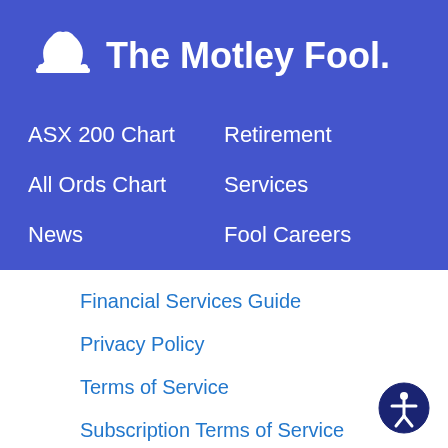[Figure (logo): The Motley Fool logo — white jester hat icon followed by text 'The Motley Fool.']
ASX 200 Chart
Retirement
All Ords Chart
Services
News
Fool Careers
Education
Contact Us
Financial Services Guide
Privacy Policy
Terms of Service
Subscription Terms of Service